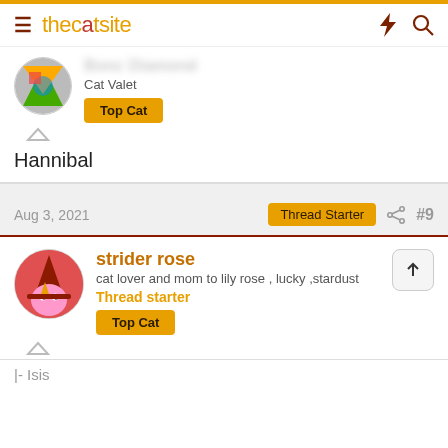thecatsite
Bonc Diamond
Cat Valet
Top Cat
Hannibal
Aug 3, 2021   Thread Starter  #9
strider rose
cat lover and mom to lily rose , lucky ,stardust
Thread starter
Top Cat
|- Isis